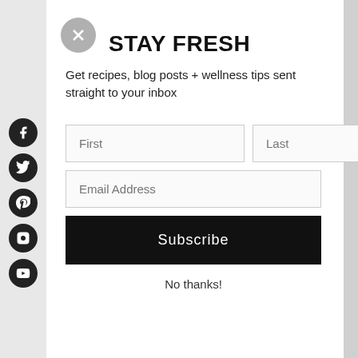STAY FRESH
Get recipes, blog posts + wellness tips sent straight to your inbox
[Figure (screenshot): Newsletter subscription form with First, Last, Email Address fields, a Subscribe button, and a No thanks! link]
No thanks!